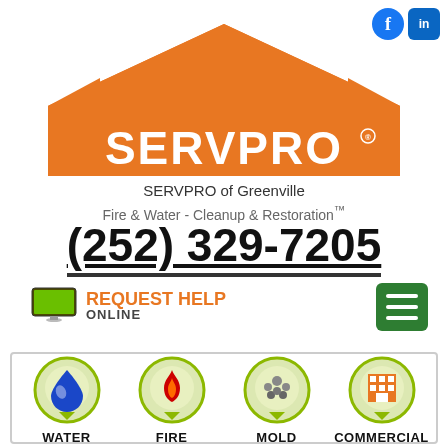[Figure (logo): SERVPRO orange rooftop logo with SERVPRO text in white]
SERVPRO of Greenville
Fire & Water - Cleanup & Restoration™
(252) 329-7205
[Figure (infographic): REQUEST HELP ONLINE button with monitor icon]
[Figure (infographic): Four service icons: WATER, FIRE, MOLD, COMMERCIAL with map pin style graphics]